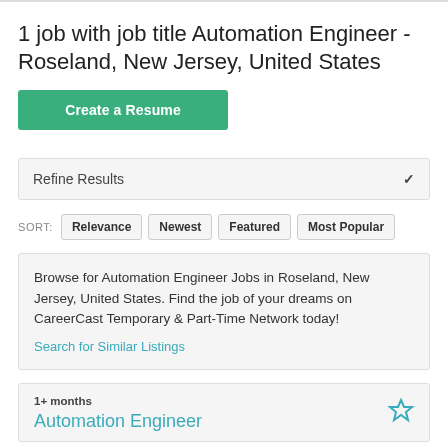1 job with job title Automation Engineer - Roseland, New Jersey, United States
Create a Resume
Refine Results
SORT: Relevance  Newest  Featured  Most Popular
Browse for Automation Engineer Jobs in Roseland, New Jersey, United States. Find the job of your dreams on CareerCast Temporary & Part-Time Network today!
Search for Similar Listings
1+ months
Automation Engineer